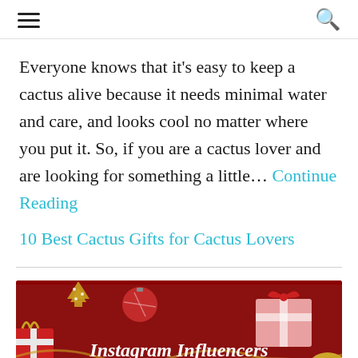≡  🔍
Everyone knows that it's easy to keep a cactus alive because it needs minimal water and care, and looks cool no matter where you put it. So, if you are a cactus lover and are looking for something a little... Continue Reading
10 Best Cactus Gifts for Cactus Lovers
[Figure (illustration): Dark red promotional banner with holiday decorations (gift boxes, ornaments, gold ribbon, Christmas tree cookie). Text reads: Instagram Influencers Have Picked]